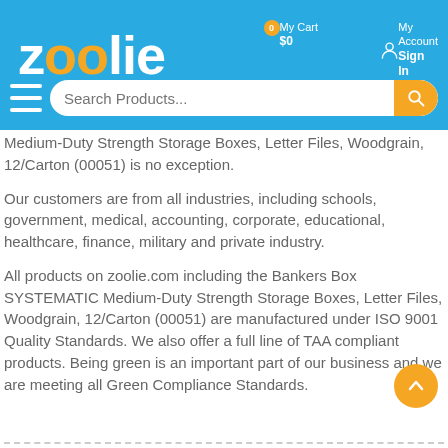[Figure (screenshot): Zoolie e-commerce website header with logo, My Cart ($0, 0 items), My Account Sign In, hamburger menu, and Search Products search bar on blue background]
Medium-Duty Strength Storage Boxes, Letter Files, Woodgrain, 12/Carton (00051) is no exception.
Our customers are from all industries, including schools, government, medical, accounting, corporate, educational, healthcare, finance, military and private industry.
All products on zoolie.com including the Bankers Box SYSTEMATIC Medium-Duty Strength Storage Boxes, Letter Files, Woodgrain, 12/Carton (00051) are manufactured under ISO 9001 Quality Standards. We also offer a full line of TAA compliant products. Being green is an important part of our business and we are meeting all Green Compliance Standards.